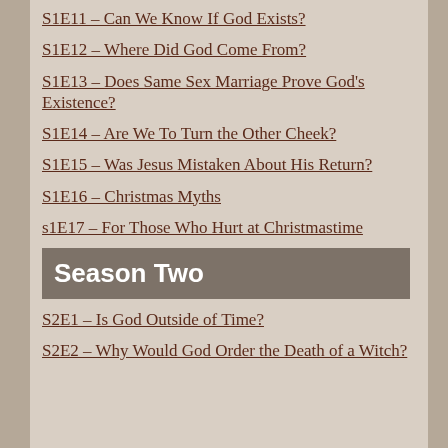S1E11 – Can We Know If God Exists?
S1E12 – Where Did God Come From?
S1E13 – Does Same Sex Marriage Prove God's Existence?
S1E14 – Are We To Turn the Other Cheek?
S1E15 – Was Jesus Mistaken About His Return?
S1E16 – Christmas Myths
s1E17 – For Those Who Hurt at Christmastime
Season Two
S2E1 – Is God Outside of Time?
S2E2 – Why Would God Order the Death of a Witch?